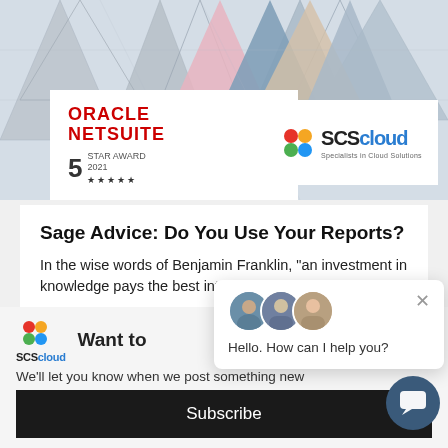[Figure (screenshot): Banner image with geometric triangle design in gray/blue tones. Oracle NetSuite 5 Star Award 2021 logo on white card on left. SCS Cloud logo on white card on right.]
Sage Advice: Do You Use Your Reports?
In the wise words of Benjamin Franklin, "an investment in knowledge pays the best interest." This...
[Figure (logo): SCS Cloud logo with colorful circles and text]
Want to
We'll let you know when we post something new
[Figure (screenshot): Chat popup with three avatar photos and message: Hello. How can I help you? With X close button.]
Subscribe